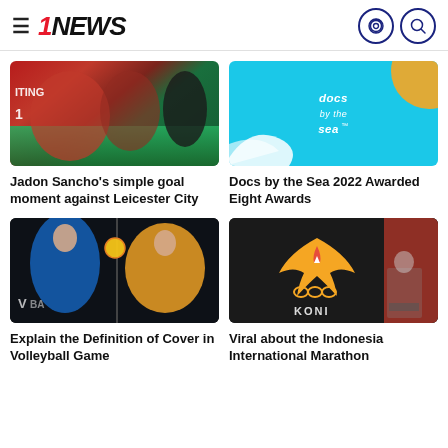1NEWS — navigation header with hamburger menu, logo, moon icon, search icon
[Figure (photo): Football match photo showing Manchester United players in red jerseys during a match, likely against Leicester City]
Jadon Sancho's simple goal moment against Leicester City
[Figure (photo): Docs by the Sea 2022 event promotional image on cyan/blue background with logo text 'docs by the sea' and decorative elements]
Docs by the Sea 2022 Awarded Eight Awards
[Figure (photo): Volleyball match photo showing players at the net, one player spiking the ball]
Explain the Definition of Cover in Volleyball Game
[Figure (photo): KONI (Indonesian National Sports Committee) logo with flaming phoenix emblem, and a speaker at podium]
Viral about the Indonesia International Marathon